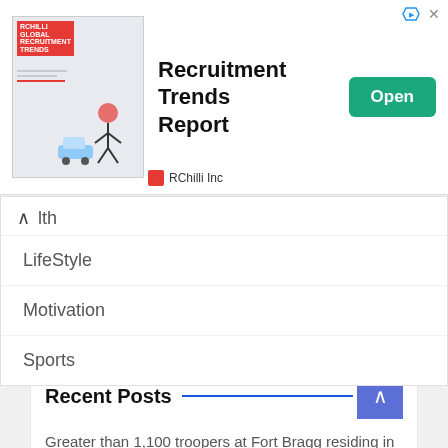[Figure (screenshot): Advertisement banner for RChilli Global Recruitment Trends Report with an Open button]
...lth
LifeStyle
Motivation
Sports
Recent Posts
Greater than 1,100 troopers at Fort Bragg residing in mold-infested barracks